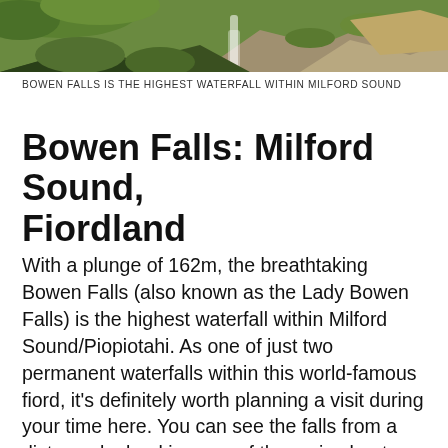[Figure (photo): A nature photograph showing mossy rocks and a waterfall in Milford Sound, Fiordland, with lush green vegetation and rocky terrain.]
BOWEN FALLS IS THE HIGHEST WATERFALL WITHIN MILFORD SOUND
Bowen Falls: Milford Sound, Fiordland
With a plunge of 162m, the breathtaking Bowen Falls (also known as the Lady Bowen Falls) is the highest waterfall within Milford Sound/Piopiotahi. As one of just two permanent waterfalls within this world-famous fiord, it's definitely worth planning a visit during your time here. You can see the falls from a distance by booking one of the cruise boat services operating in the area, or for a closer look, there's a recently reopened track that offers extraordinary views of both